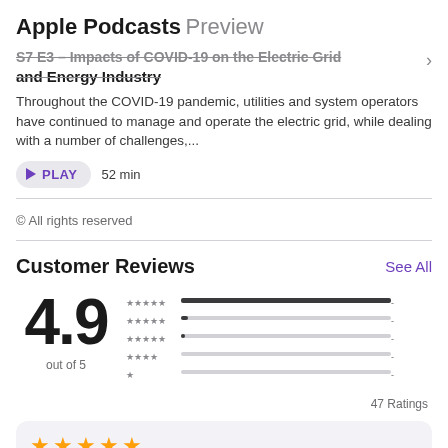Apple Podcasts Preview
S7 E3 – Impacts of COVID-19 on the Electric Grid and Energy Industry
Throughout the COVID-19 pandemic, utilities and system operators have continued to manage and operate the electric grid, while dealing with a number of challenges,...
PLAY  52 min
© All rights reserved
Customer Reviews
See All
4.9 out of 5
[Figure (bar-chart): Rating distribution]
47 Ratings
★★★★★